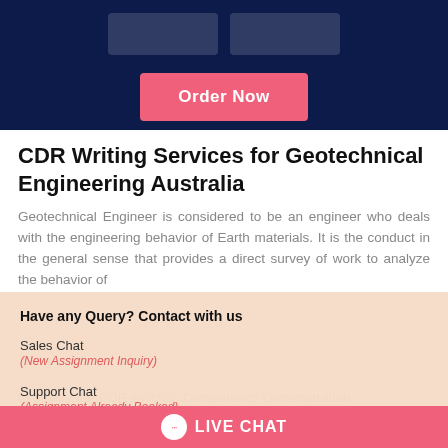[Figure (screenshot): Dark navy top banner with two placeholder buttons and a pink 'Order Now' button]
CDR Writing Services for Geotechnical Engineering Australia
Geotechnical Engineer is considered to be an engineer who deals with the engineering behavior of Earth materials. It is the conduct in the general sense that provides a direct survey of work to analyze the behavior of
Have any Query? Contact with us
Sales Chat
(New Assignment Inquiry)
Support Chat
(Assignment Already Booked)
to qualify the CDR which is Competency Demonstration
LIVE CHAT